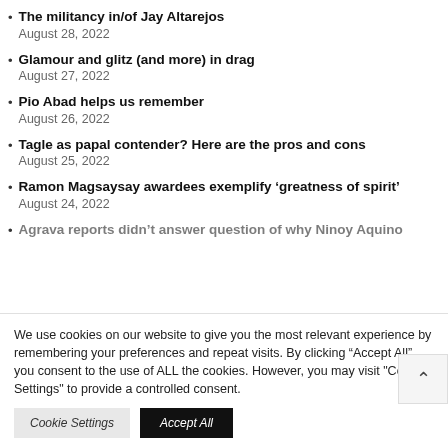The militancy in/of Jay Altarejos
August 28, 2022
Glamour and glitz (and more) in drag
August 27, 2022
Pio Abad helps us remember
August 26, 2022
Tagle as papal contender? Here are the pros and cons
August 25, 2022
Ramon Magsaysay awardees exemplify ‘greatness of spirit’
August 24, 2022
Agrava reports didn’t answer question of why Ninoy Aquino
We use cookies on our website to give you the most relevant experience by remembering your preferences and repeat visits. By clicking “Accept All”, you consent to the use of ALL the cookies. However, you may visit "Cookie Settings" to provide a controlled consent.